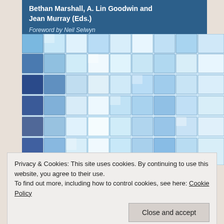Bethan Marshall, A. Lin Goodwin and Jean Murray (Eds.)
Foreword by Neil Selwyn
[Figure (photo): Abstract background of blue 3D glass cubes/blocks arranged in a grid pattern, giving a technology-themed appearance.]
Privacy & Cookies: This site uses cookies. By continuing to use this website, you agree to their use. To find out more, including how to control cookies, see here: Cookie Policy
Close and accept